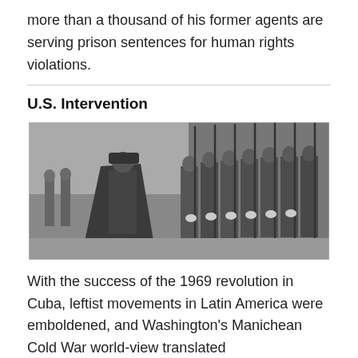more than a thousand of his former agents are serving prison sentences for human rights violations.
U.S. Intervention
[Figure (photo): Black and white photograph of a military officer in uniform and cape walking past a line of soldiers holding rifles at attention.]
With the success of the 1969 revolution in Cuba, leftist movements in Latin America were emboldened, and Washington's Manichean Cold War world-view translated